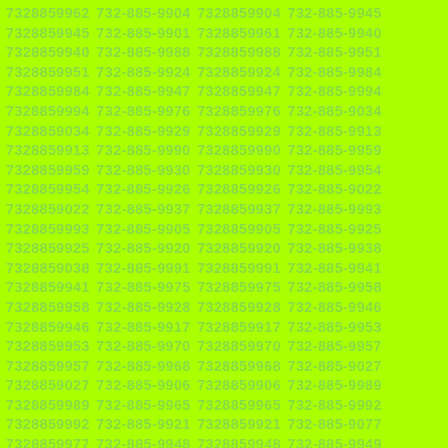7328859962 732-885-9904 7328859904 732-885-9945 7328859945 732-885-9901 7328859961 732-885-9940 7328859940 732-885-9988 7328859988 732-885-9951 7328859951 732-885-9924 7328859924 732-885-9984 7328859984 732-885-9947 7328859947 732-885-9994 7328859994 732-885-9976 7328859976 732-885-9034 7328859034 732-885-9929 7328859929 732-885-9913 7328859913 732-885-9990 7328859990 732-885-9959 7328859959 732-885-9930 7328859930 732-885-9954 7328859954 732-885-9926 7328859926 732-885-9022 7328859022 732-885-9937 7328859937 732-885-9993 7328859993 732-885-9905 7328859905 732-885-9925 7328859925 732-885-9920 7328859920 732-885-9938 7328859038 732-885-9991 7328859991 732-885-9941 7328859941 732-885-9975 7328859975 732-885-9958 7328859958 732-885-9928 7328859928 732-885-9946 7328859946 732-885-9917 7328859917 732-885-9953 7328859953 732-885-9970 7328859970 732-885-9957 7328859957 732-885-9968 7328859968 732-885-9027 7328859027 732-885-9906 7328859906 732-885-9989 7328859989 732-885-9965 7328859965 732-885-9992 7328859992 732-885-9921 7328859921 732-885-9077 7328859977 732-885-9948 7328859948 732-885-9949 7328859949 732-885-9981 7328859981 732-885-9909 7328859909 732-885-9943 7328859943 732-885-9933